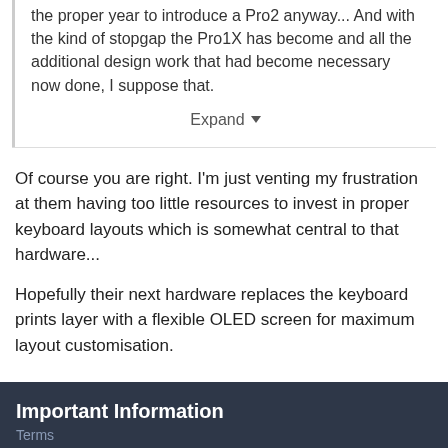the proper year to introduce a Pro2 anyway... And with the kind of stopgap the Pro1X has become and all the additional design work that had become necessary now done, I suppose that.
Expand
Of course you are right. I'm just venting my frustration at them having too little resources to invest in proper keyboard layouts which is somewhat central to that hardware...
Hopefully their next hardware replaces the keyboard prints layer with a flexible OLED screen for maximum layout customisation.
Important Information
Terms
I accept